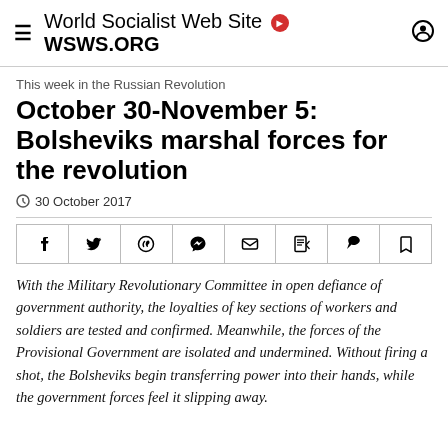World Socialist Web Site • WSWS.ORG
This week in the Russian Revolution
October 30-November 5: Bolsheviks marshal forces for the revolution
30 October 2017
[Figure (other): Social share buttons: Facebook, Twitter, WhatsApp, Telegram, Email, PDF, Comment, Bookmark]
With the Military Revolutionary Committee in open defiance of government authority, the loyalties of key sections of workers and soldiers are tested and confirmed. Meanwhile, the forces of the Provisional Government are isolated and undermined. Without firing a shot, the Bolsheviks begin transferring power into their hands, while the government forces feel it slipping away.